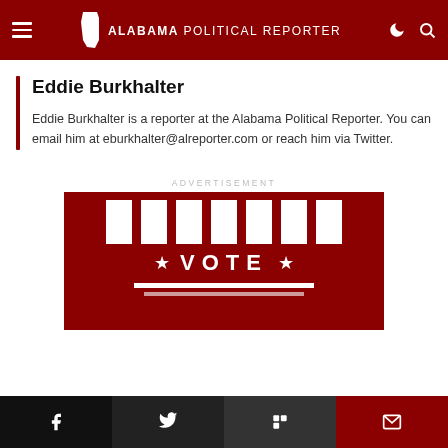Alabama Political Reporter
Eddie Burkhalter
Eddie Burkhalter is a reporter at the Alabama Political Reporter. You can email him at eburkhalter@alreporter.com or reach him via Twitter.
ADVERTISEMENT
[Figure (infographic): Red background with white vertical stripes at top, a star-VOTE-star text row in the center, and white horizontal bars below. Voting themed banner advertisement.]
Social share buttons: Facebook, Twitter, Flipboard, Email